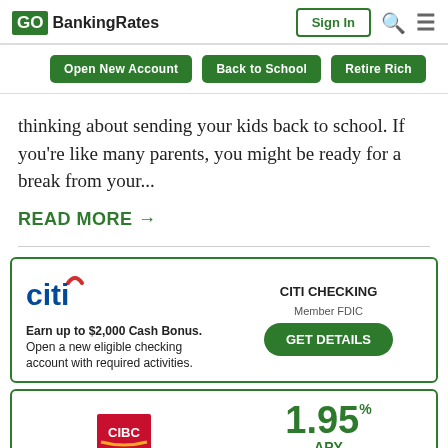GOBankingRates | Sign In
Open New Account
Back to School
Retire Rich
thinking about sending your kids back to school. If you're like many parents, you might be ready for a break from your...
READ MORE →
[Figure (infographic): Citi bank advertisement card: Citi logo, text 'Earn up to $2,000 Cash Bonus. Open a new eligible checking account with required activities.' Right side: CITI CHECKING, Member FDIC, GET DETAILS green button.]
[Figure (infographic): CIBC bank advertisement card: CIBC logo, HIGH YIELD SAVINGS ACCOUNT label. Right side: 1.95% APY in green, Equal Housing Lender | Member FDIC.]